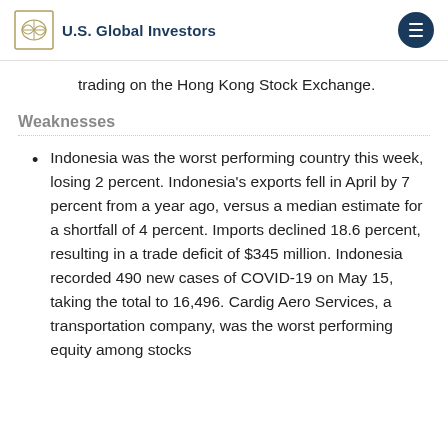U.S. Global Investors
trading on the Hong Kong Stock Exchange.
Weaknesses
Indonesia was the worst performing country this week, losing 2 percent. Indonesia's exports fell in April by 7 percent from a year ago, versus a median estimate for a shortfall of 4 percent. Imports declined 18.6 percent, resulting in a trade deficit of $345 million. Indonesia recorded 490 new cases of COVID-19 on May 15, taking the total to 16,496. Cardig Aero Services, a transportation company, was the worst performing equity among stocks